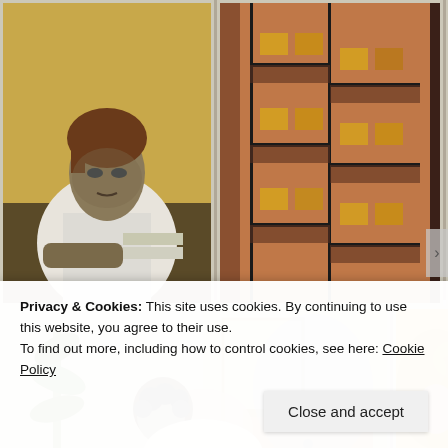[Figure (illustration): Gallery grid of paintings: top row shows three paintings (portrait of woman at desk, urban fire escape building exterior at night, mother holding baby); bottom row shows two paintings (person reclining near plant with dresser interior, partial view of blonde figure)]
Privacy & Cookies: This site uses cookies. By continuing to use this website, you agree to their use.
To find out more, including how to control cookies, see here: Cookie Policy
Close and accept